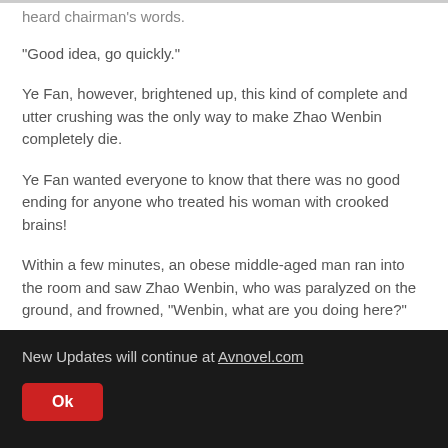heard chairman's words.
"Good idea, go quickly."
Ye Fan, however, brightened up, this kind of complete and utter crushing was the only way to make Zhao Wenbin completely die.
Ye Fan wanted everyone to know that there was no good ending for anyone who treated his woman with crooked brains!
Within a few minutes, an obese middle-aged man ran into the room and saw Zhao Wenbin, who was paralyzed on the ground, and frowned, "Wenbin, what are you doing here?"
New Updates will continue at Avnovel.com
Ok